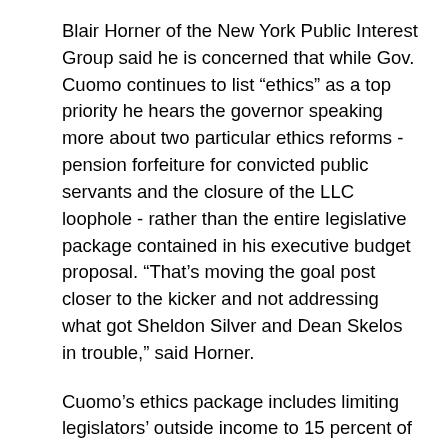Blair Horner of the New York Public Interest Group said he is concerned that while Gov. Cuomo continues to list “ethics” as a top priority he hears the governor speaking more about two particular ethics reforms - pension forfeiture for convicted public servants and the closure of the LLC loophole - rather than the entire legislative package contained in his executive budget proposal. “That’s moving the goal post closer to the kicker and not addressing what got Sheldon Silver and Dean Skelos in trouble,” said Horner.
Cuomo’s ethics package includes limiting legislators’ outside income to 15 percent of their salary; the creation of a voluntary public campaign finance system; the closure of the LLC loophole; stricter fundraising disclosure; requiring bundlers to disclose their identities; putting a $25,000 limit on donations to party housekeeping accounts; strengthening the Joint Commission on Public Ethics; requiring forfeiture and